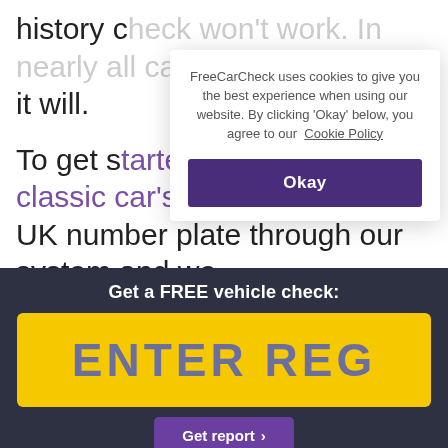history check won't work. In nearly all cases, it will.
[Figure (screenshot): Cookie consent popup overlay from FreeCarCheck website. White box with shadow containing text: 'FreeCarCheck uses cookies to give you the best experience when using our website. By clicking 'Okay' below, you agree to our Cookie Policy' and a dark purple 'Okay' button.]
To get started, simply run a classic car's UK number plate through our system and we will instantly check it it has ever been stolen, written off, has outstanding finance...
Get a FREE vehicle check:
ENTER REG
Get report >